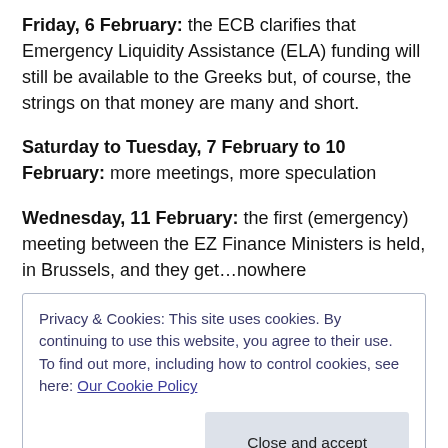Friday, 6 February: the ECB clarifies that Emergency Liquidity Assistance (ELA) funding will still be available to the Greeks but, of course, the strings on that money are many and short.
Saturday to Tuesday, 7 February to 10 February: more meetings, more speculation
Wednesday, 11 February: the first (emergency) meeting between the EZ Finance Ministers is held, in Brussels, and they get…nowhere
Privacy & Cookies: This site uses cookies. By continuing to use this website, you agree to their use. To find out more, including how to control cookies, see here: Our Cookie Policy
Saturday, 14 February: Varoufakis says that he believes